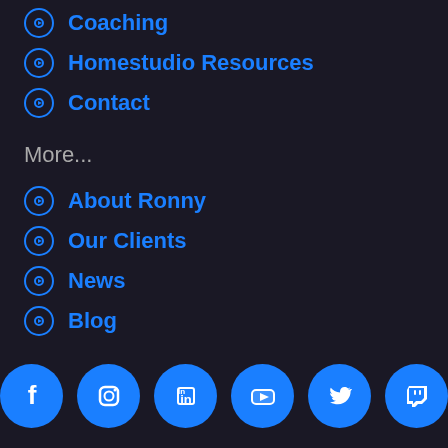Coaching
Homestudio Resources
Contact
More...
About Ronny
Our Clients
News
Blog
[Figure (infographic): Social media icons row: Facebook, Instagram, LinkedIn, YouTube, Twitter, Twitch — each white icon on a blue circle]